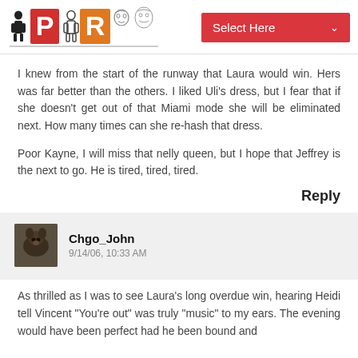Project Runway (logo) | Select Here
I knew from the start of the runway that Laura would win. Hers was far better than the others. I liked Uli's dress, but I fear that if she doesn't get out of that Miami mode she will be eliminated next. How many times can she re-hash that dress.

Poor Kayne, I will miss that nelly queen, but I hope that Jeffrey is the next to go. He is tired, tired, tired.
Reply
Chgo_John
9/14/06, 10:33 AM
As thrilled as I was to see Laura's long overdue win, hearing Heidi tell Vincent "You're out" was truly "music" to my ears. The evening would have been perfect had he been bound and